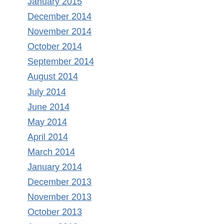January 2015 (partial, top cut off)
December 2014
November 2014
October 2014
September 2014
August 2014
July 2014
June 2014
May 2014
April 2014
March 2014
January 2014
December 2013
November 2013
October 2013
August 2013
July 2013
June 2013
May 2013